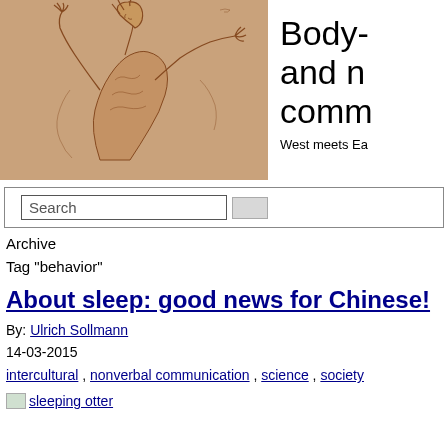[Figure (illustration): Renaissance-style red chalk sketch of a muscular male figure from behind, arms raised, reminiscent of a Michelangelo anatomical study]
Body- and n- comm-
West meets Ea-
Archive
Tag "behavior"
About sleep: good news for Chinese!
By: Ulrich Sollmann
14-03-2015
intercultural , nonverbal communication , science , society
[Figure (photo): sleeping otter image thumbnail]